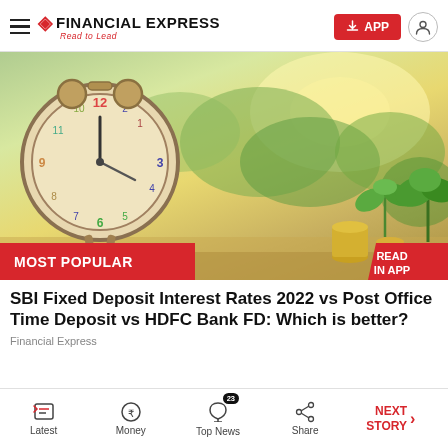FINANCIAL EXPRESS — Read to Lead | APP
[Figure (photo): Hero image showing a vintage alarm clock surrounded by green plants and stacked coins on a blurred garden background, with MOST POPULAR red badge on bottom-left and READ IN APP badge on bottom-right]
SBI Fixed Deposit Interest Rates 2022 vs Post Office Time Deposit vs HDFC Bank FD: Which is better?
Financial Express
Latest | Money | Top News 23 | Share | NEXT STORY